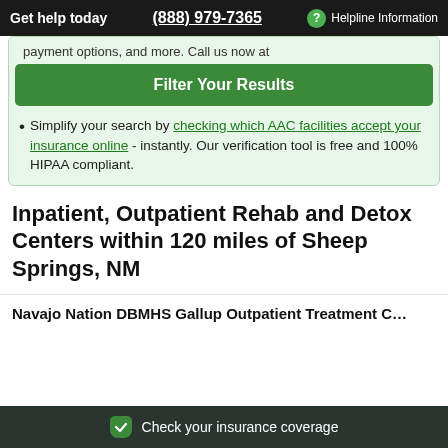Get help today | (888) 979-7365 | ? Helpline Information
payment options, and more. Call us now at
Filter Your Results
Simplify your search by checking which AAC facilities accept your insurance online - instantly. Our verification tool is free and 100% HIPAA compliant.
Inpatient, Outpatient Rehab and Detox Centers within 120 miles of Sheep Springs, NM
Navajo Nation DBMHS Gallup Outpatient Treatment C…
Check your insurance coverage